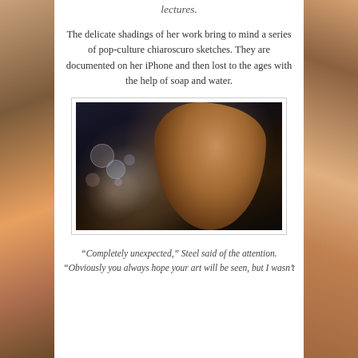lectures.
The delicate shadings of her work bring to mind a series of pop-culture chiaroscuro sketches. They are documented on her iPhone and then lost to the ages with the help of soap and water.
[Figure (photo): Close-up portrait of a young woman with short blonde hair, looking upward, illuminated against a dark background with bokeh light effects on the left side.]
“Completely unexpected,” Steel said of the attention. “Obviously you always hope your art will be seen, but I wasn’t